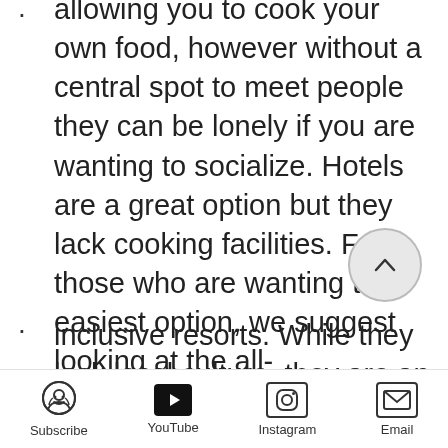allowing you to cook your own food, however without a central spot to meet people they can be lonely if you are wanting to socialize. Hotels are a great option but they lack cooking facilities. For those who are wanting the easiest option, we suggest looking at the all-inclusive resorts. While they lack local culture, they are an easy way to meet people without not needing to cook for yourself. They can also be very inexpensive. Our place at the south end of Sunny Beach was only $70/night for the two of
Subscribe | YouTube | Instagram | Email